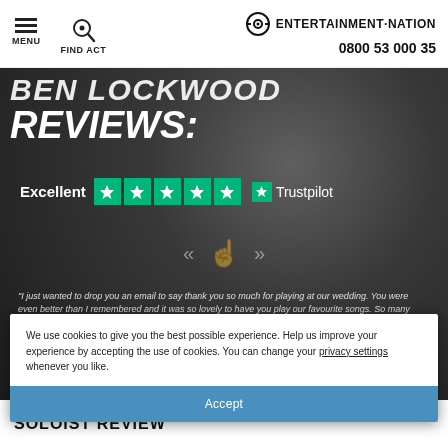MENU | FIND ACT | ENTERTAINMENT·NATION | 0800 53 000 35
BEN LOCKWOOD REVIEWS:
Excellent ★★★★★ Trustpilot
[Figure (other): Navigation arrows with hand pointer icon for review carousel]
"I just wanted to drop you an email to say thank you so much for playing at our wedding. You were even better than I remembered and it was so lovely to have you play our favourite songs. So many guests told me how wonderful you were (including my dad who even emailed you!) and Joel and I especially enjoyed you playing throughout our ceremony -
We use cookies to give you the best possible experience. Help us improve your experience by accepting the use of cookies. You can change your privacy settings whenever you like.
Accept
SOLOIST REVIEW